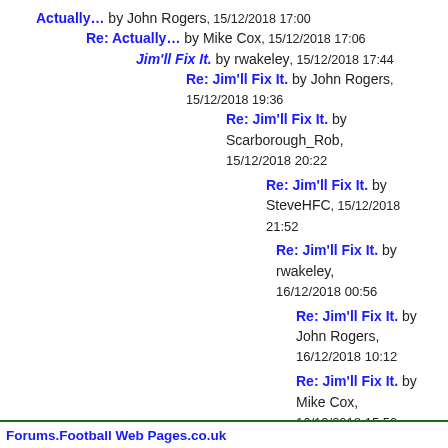Actually… by John Rogers, 15/12/2018 17:00
Re: Actually… by Mike Cox, 15/12/2018 17:06
Jim'll Fix It. by rwakeley, 15/12/2018 17:44
Re: Jim'll Fix It. by John Rogers, 15/12/2018 19:36
Re: Jim'll Fix It. by Scarborough_Rob, 15/12/2018 20:22
Re: Jim'll Fix It. by SteveHFC, 15/12/2018 21:52
Re: Jim'll Fix It. by rwakeley, 16/12/2018 00:56
Re: Jim'll Fix It. by John Rogers, 16/12/2018 10:12
Re: Jim'll Fix It. by Mike Cox, 16/12/2018 15:50
Re: Jim'll Fix It. by David B, 16/12/2018 14:28
Forums.Football Web Pages.co.uk